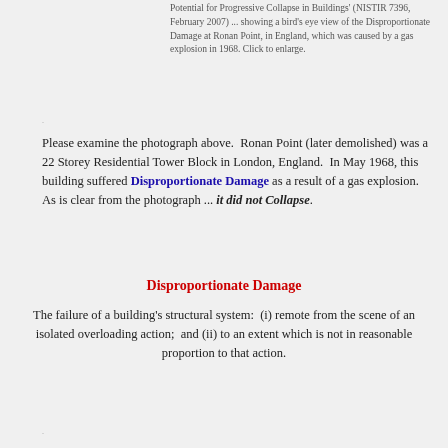Potential for Progressive Collapse in Buildings' (NISTIR 7396, February 2007) ... showing a bird's eye view of the Disproportionate Damage at Ronan Point, in England, which was caused by a gas explosion in 1968. Click to enlarge.
Please examine the photograph above.  Ronan Point (later demolished) was a 22 Storey Residential Tower Block in London, England.  In May 1968, this building suffered Disproportionate Damage as a result of a gas explosion.  As is clear from the photograph ... it did not Collapse.
Disproportionate Damage
The failure of a building's structural system:  (i) remote from the scene of an isolated overloading action;  and (ii) to an extent which is not in reasonable proportion to that action.